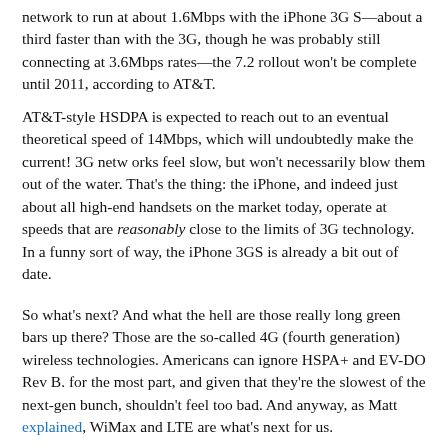network to run at about 1.6Mbps with the iPhone 3G S—about a third faster than with the 3G, though he was probably still connecting at 3.6Mbps rates—the 7.2 rollout won't be complete until 2011, according to AT&T.
AT&T-style HSDPA is expected to reach out to an eventual theoretical speed of 14Mbps, which will undoubtedly make the current! 3G netw orks feel slow, but won't necessarily blow them out of the water. That's the thing: the iPhone, and indeed just about all high-end handsets on the market today, operate at speeds that are reasonably close to the limits of 3G technology. In a funny sort of way, the iPhone 3GS is already a bit out of date.
So what's next? And what the hell are those really long green bars up there? Those are the so-called 4G (fourth generation) wireless technologies. Americans can ignore HSPA+ and EV-DO Rev B. for the most part, and given that they're the slowest of the next-gen bunch, shouldn't feel too bad. And anyway, as Matt explained, WiMax and LTE are what's next for us.